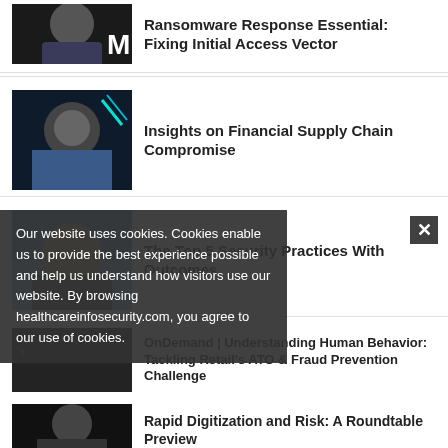[Figure (photo): Partial photo of a man in a suit against dark background]
Ransomware Response Essential: Fixing Initial Access Vector
[Figure (photo): Man with glasses smiling, wearing blue shirt against dark background with teal light]
Insights on Financial Supply Chain Compromise
[Figure (photo): Person with blonde hair against blue/sky background]
The Top 5 Security Practices With Outcomes
[Figure (photo): Dark background with text/financial imagery]
OnDemand | Understanding Human Behavior: Tackling Retail's ATO & Fraud Prevention Challenge
[Figure (photo): Man in dark setting]
Rapid Digitization and Risk: A Roundtable Preview
Our website uses cookies. Cookies enable us to provide the best experience possible and help us understand how visitors use our website. By browsing healthcareinfosecurity.com, you agree to our use of cookies.